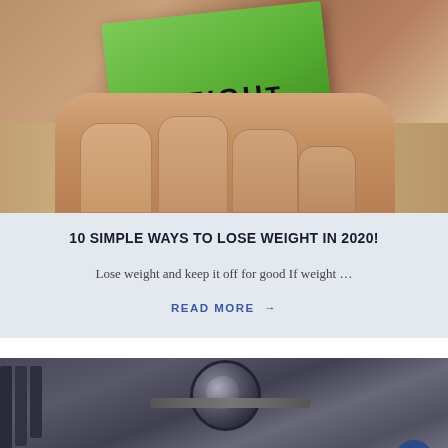[Figure (photo): Hand holding a green piece of paper with 'WEIGH' written on it, resting on a wooden surface]
10 SIMPLE WAYS TO LOSE WEIGHT IN 2020!
Lose weight and keep it off for good If weight …
READ MORE →
[Figure (photo): Woman lying on a gym bench doing dumbbell press exercise surrounded by gym equipment]